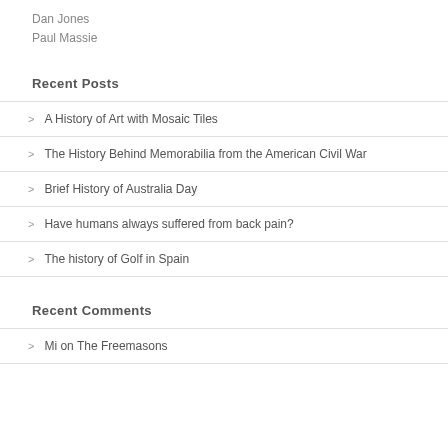Dan Jones
Paul Massie
Recent Posts
A History of Art with Mosaic Tiles
The History Behind Memorabilia from the American Civil War
Brief History of Australia Day
Have humans always suffered from back pain?
The history of Golf in Spain
Recent Comments
Mi on The Freemasons